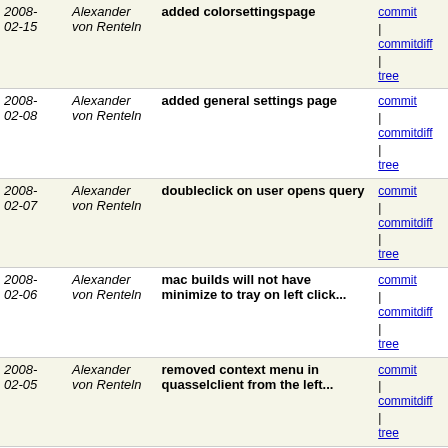| Date | Author | Message | Links |
| --- | --- | --- | --- |
| 2008-02-15 | Alexander von Renteln | added colorsettingspage | commit | commitdiff | tree |
| 2008-02-08 | Alexander von Renteln | added general settings page | commit | commitdiff | tree |
| 2008-02-07 | Alexander von Renteln | doubleclick on user opens query | commit | commitdiff | tree |
| 2008-02-06 | Alexander von Renteln | mac builds will not have minimize to tray on left click... | commit | commitdiff | tree |
| 2008-02-05 | Alexander von Renteln | removed context menu in quasselclient from the left... | commit | commitdiff | tree |
| 2008-02-05 | Alexander von Renteln | improved minimize to tray behavior with win versions... | commit | commitdiff | tree |
| 2008-02-03 | Alexander von Renteln | enabled query in user context menu - now that the query... | commit | commitdiff | tree |
| 2008-02-03 | Alexander von Renteln | changed the behavior of RPL_AWAY server messages: | commit | commitdiff | tree |
| 2008-02-01 | Alexander von Renteln | beautyfied the code in userinputhandler::handlectcp | commit | commitdiff | tree |
| 2008-02-01 | Alexander von Renteln | added ctcp handler to userinputhandler | commit | commitdiff | tree |
| 2008-01-31 | Alexander von Renteln | added more user info in the user tool tip | commit | commitdiff | tree |
| 2008-01-31 | Alexander von Renteln | added ircserverhandler for whois, who and whowas | commit | commitdiff | tree |
| 2008-01-31 | Alexander von Renteln | win32 block added | commit | commitdiff | tree |
| 2008- | Alexander | Added BanHandler | commit |